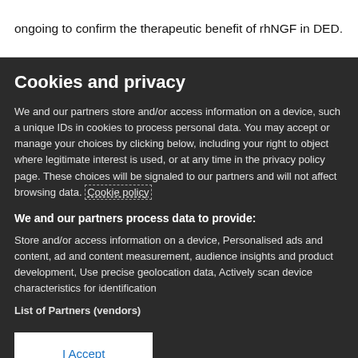ongoing to confirm the therapeutic benefit of rhNGF in DED.
Cookies and privacy
We and our partners store and/or access information on a device, such a unique IDs in cookies to process personal data. You may accept or manage your choices by clicking below, including your right to object where legitimate interest is used, or at any time in the privacy policy page. These choices will be signaled to our partners and will not affect browsing data. Cookie policy
We and our partners process data to provide:
Store and/or access information on a device, Personalised ads and content, ad and content measurement, audience insights and product development, Use precise geolocation data, Actively scan device characteristics for identification
List of Partners (vendors)
I Accept